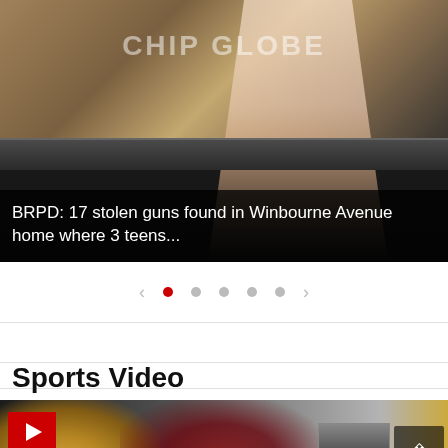[Figure (screenshot): News broadcast screenshot showing anchor desk with text overlay: BRPD: 17 stolen guns found in Winbourne Avenue home where 3 teens...]
BRPD: 17 stolen guns found in Winbourne Avenue home where 3 teens...
[Figure (other): Carousel navigation with left arrow, one active red dot, four gray dots, and right arrow]
Sports Video
[Figure (screenshot): Sports video thumbnail showing football players with red play button overlay and scroll-up button]